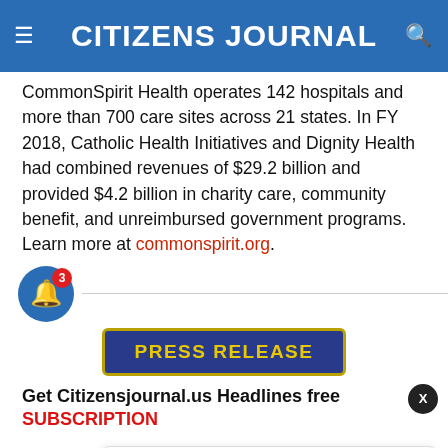CITIZENS JOURNAL
CommonSpirit Health operates 142 hospitals and more than 700 care sites across 21 states. In FY 2018, Catholic Health Initiatives and Dignity Health had combined revenues of $29.2 billion and provided $4.2 billion in charity care, community benefit, and unreimbursed government programs. Learn more at commonspirit.org.
[Figure (other): Press Release button with navy blue background and gold border, yellow text reading PRESS RELEASE]
Get Citizensjournal.us Headlines free
SUBSCRIPTION
[Figure (other): Notification popup showing a photo of Mitch McConnell with headline: With GOP Leaders Like McConnell, Who Needs, posted 2 hours ago]